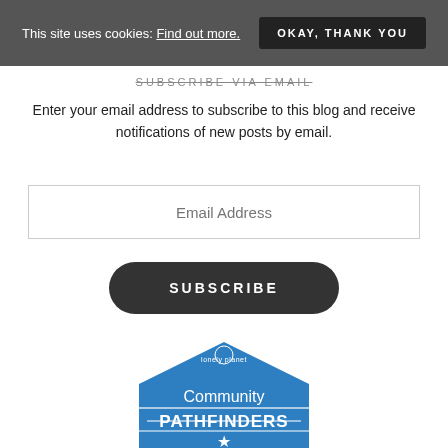This site uses cookies: Find out more. OKAY, THANK YOU
SUBSCRIBE VIA EMAIL
Enter your email address to subscribe to this blog and receive notifications of new posts by email.
[Figure (logo): Lonely Planet Community Pathfinders badge — blue hexagonal badge with 'lonely planet' logo at top, 'Community' text, 'PATHFINDERS' in large letters, and a star icon at the bottom]